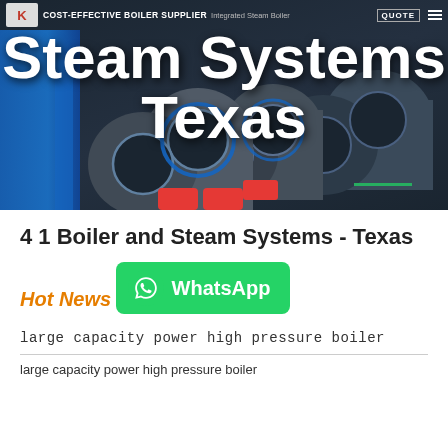[Figure (screenshot): Hero banner with dark industrial background showing boiler equipment, company logo, tagline 'COST-EFFECTIVE BOILER SUPPLIER', navigation bar with 'QUOTE' button, and large white bold text 'Steam Systems Texas']
4 1 Boiler and Steam Systems - Texas
Hot News
[Figure (infographic): WhatsApp button - green rounded rectangle with WhatsApp logo icon and text 'WhatsApp']
large capacity power high pressure boiler
...